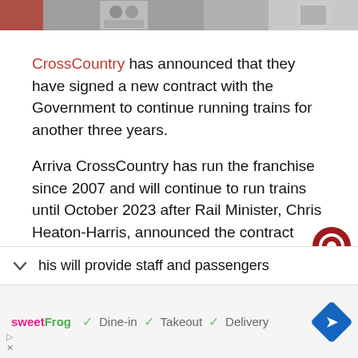[Figure (photo): Partial top image bar showing cropped photos]
CrossCountry has announced that they have signed a new contract with the Government to continue running trains for another three years.
Arriva CrossCountry has run the franchise since 2007 and will continue to run trains until October 2023 after Rail Minister, Chris Heaton-Harris, announced the contract today, Friday 16th October 2020.
his will provide staff and passengers
[Figure (screenshot): sweetFrog ad bar with Dine-in, Takeout, Delivery checkmarks and navigation icon]